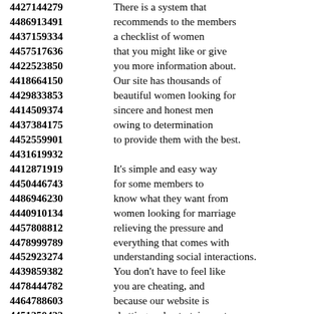4427144279  There is a system that
4486913491  recommends to the members
4437159334  a checklist of women
4457517636  that you might like or give
4422523850  you more information about.
4418664150  Our site has thousands of
4429833853  beautiful women looking for
4414509374  sincere and honest men
4437384175  owing to determination
4452559901  to provide them with the best.
4431619932
4412871919  It's simple and easy way
4450446743  for some members to
4486946230  know what they want from
4440910134  women looking for marriage
4457808812  relieving the pressure and
4478999789  everything that comes with
4452923274  understanding social interactions.
4439859382  You don't have to feel like
4478444782  you are cheating, and
4464788603  because our website is
4451250422  chatting and entertainment
4487523357  service which means no
4419799905  physical interactions between
4497196333  men and women online.
4436319130  Did our they our site...